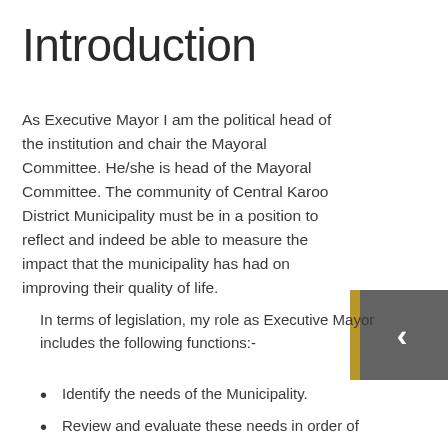Introduction
As Executive Mayor I am the political head of the institution and chair the Mayoral Committee. He/she is head of the Mayoral Committee. The community of Central Karoo District Municipality must be in a position to reflect and indeed be able to measure the impact that the municipality has had on improving their quality of life.
In terms of legislation, my role as Executive Mayor includes the following functions:-
Identify the needs of the Municipality.
Review and evaluate these needs in order of